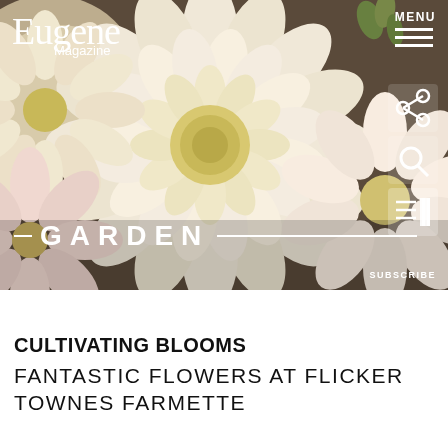[Figure (photo): Close-up photograph of large white and cream dahlia flowers with soft pink tones, filling the hero banner of a magazine website screenshot]
Eugene Magazine
MENU
GARDEN
SUBSCRIBE
CULTIVATING BLOOMS
FANTASTIC FLOWERS AT FLICKER TOWNES FARMETTE